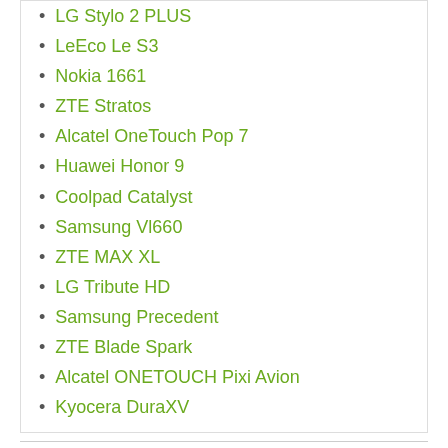LG Stylo 2 PLUS
LeEco Le S3
Nokia 1661
ZTE Stratos
Alcatel OneTouch Pop 7
Huawei Honor 9
Coolpad Catalyst
Samsung Vl660
ZTE MAX XL
LG Tribute HD
Samsung Precedent
ZTE Blade Spark
Alcatel ONETOUCH Pixi Avion
Kyocera DuraXV
MyRatePlan